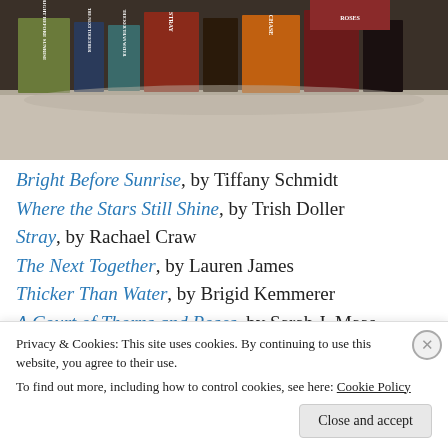[Figure (photo): Photo of book spines arranged on a surface, including Bright Before Sunrise, The Next Together by Lauren James, Thicker Than Water, Stray, Chase, A Court of Thorns and Roses, and other books.]
Bright Before Sunrise, by Tiffany Schmidt
Where the Stars Still Shine, by Trish Doller
Stray, by Rachael Craw
The Next Together, by Lauren James
Thicker Than Water, by Brigid Kemmerer
A Court of Thorns and Roses, by Sarah J. Maas
The Sacred Lies of Minnow Bly, by Stephanie Oakes
Privacy & Cookies: This site uses cookies. By continuing to use this website, you agree to their use. To find out more, including how to control cookies, see here: Cookie Policy